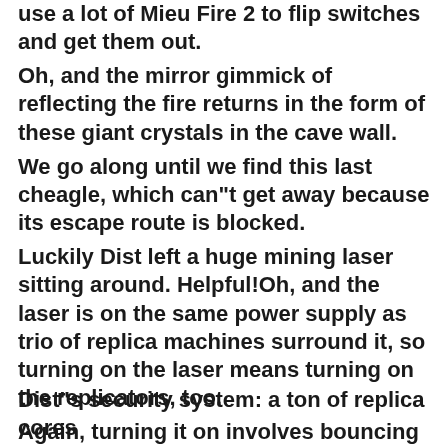use a lot of Mieu Fire 2 to flip switches and get them out.
Oh, and the mirror gimmick of reflecting the fire returns in the form of these giant crystals in the cave wall.
We go along until we find this last cheagle, which can"t get away because its escape route is blocked.
Luckily Dist left a huge mining laser sitting around. Helpful!Oh, and the laser is on the same power supply as trio of replica machines surround it, so turning on the laser means turning on the replicators, too.
Again, turning it on involves bouncing the Sorcerer"s Ring off mirrors. Is this how Dist had to start it, too? How annoying.
[Figure (illustration): Small pixel art icon of a character or item, centered on page]
Fare thee well, cheagle.
Dist"s security system: a ton of replica cores